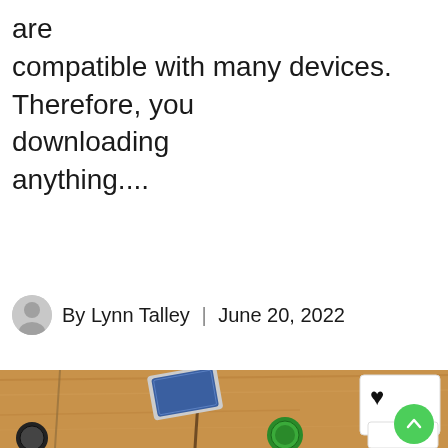are compatible with many devices. Therefore, you downloading anything....
By Lynn Talley | June 20, 2022
[Figure (photo): Top-down view of a wooden table with playing cards including a face-down card deck, poker chips (green and black), and a face card. A green scroll-to-top button is visible in the bottom right corner.]